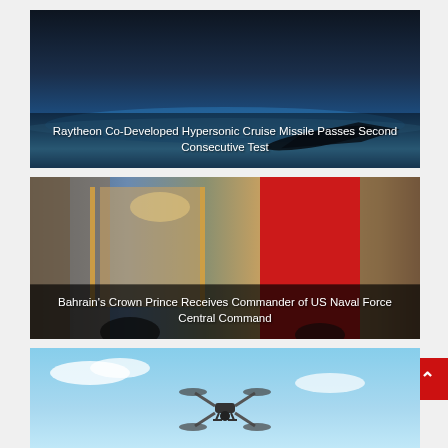[Figure (photo): Hypersonic cruise missile in dark sky with blue atmospheric glow at horizon, with text overlay: Raytheon Co-Developed Hypersonic Cruise Missile Passes Second Consecutive Test]
Raytheon Co-Developed Hypersonic Cruise Missile Passes Second Consecutive Test
[Figure (photo): Bahrain Crown Prince receiving US Naval Force commander in ornate room with Bahrain flag visible, gold curtains and chandelier in background]
Bahrain's Crown Prince Receives Commander of US Naval Force Central Command
[Figure (photo): Commercial drone flying against blue sky with clouds]